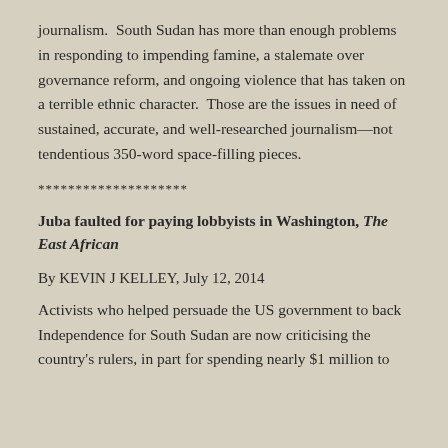journalism.  South Sudan has more than enough problems in responding to impending famine, a stalemate over governance reform, and ongoing violence that has taken on a terrible ethnic character.  Those are the issues in need of sustained, accurate, and well-researched journalism—not tendentious 350-word space-filling pieces.
********************
Juba faulted for paying lobbyists in Washington, The East African
By KEVIN J KELLEY, July 12, 2014
Activists who helped persuade the US government to back Independence for South Sudan are now criticising the country's rulers, in part for spending nearly $1 million to